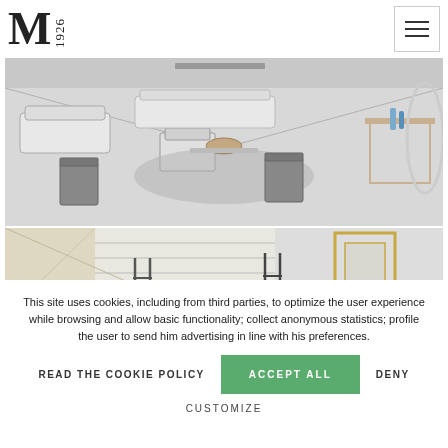M 1926
[Figure (illustration): Interior design sketch showing a living room/conference area with sofas, ottomans, chairs, rug, and side table in pencil/watercolor style]
[Figure (illustration): Interior design sketch showing a staircase and modern chairs in pencil/watercolor style with gold-framed glass panel]
This site uses cookies, including from third parties, to optimize the user experience while browsing and allow basic functionality; collect anonymous statistics; profile the user to send him advertising in line with his preferences.
READ THE COOKIE POLICY   ACCEPT ALL   DENY
CUSTOMIZE